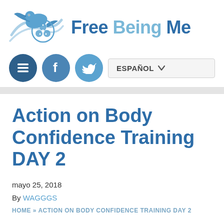[Figure (logo): Free Being Me logo with bird and WAGGGS trefoil emblem in blue]
Free Being Me
[Figure (infographic): Navigation bar with menu, Facebook, and Twitter icons plus ESPAÑOL language selector]
Action on Body Confidence Training DAY 2
mayo 25, 2018
By WAGGGS
HOME » ACTION ON BODY CONFIDENCE TRAINING DAY 2